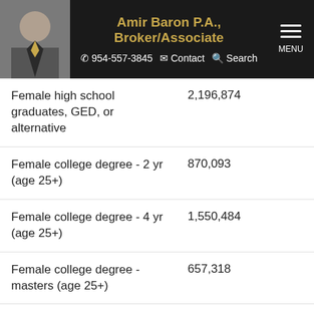Amir Baron P.A., Broker/Associate | 954-557-3845 | Contact | Search | MENU
| Category | Value |
| --- | --- |
| Female high school graduates, GED, or alternative | 2,196,874 |
| Female college degree - 2 yr (age 25+) | 870,093 |
| Female college degree - 4 yr (age 25+) | 1,550,484 |
| Female college degree - masters (age 25+) | 657,318 |
| Female college degree - doctorate (age 25+) | 78,060 |